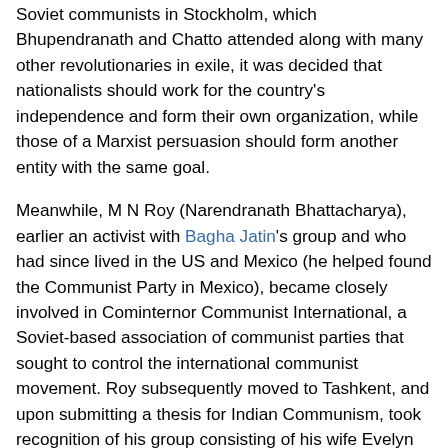Soviet communists in Stockholm, which Bhupendranath and Chatto attended along with many other revolutionaries in exile, it was decided that nationalists should work for the country's independence and form their own organization, while those of a Marxist persuasion should form another entity with the same goal.
Meanwhile, M N Roy (Narendranath Bhattacharya), earlier an activist with Bagha Jatin's group and who had since lived in the US and Mexico (he helped found the Communist Party in Mexico), became closely involved in Cominternor Communist International, a Soviet-based association of communist parties that sought to control the international communist movement. Roy subsequently moved to Tashkent, and upon submitting a thesis for Indian Communism, took recognition of his group consisting of his wife Evelyn